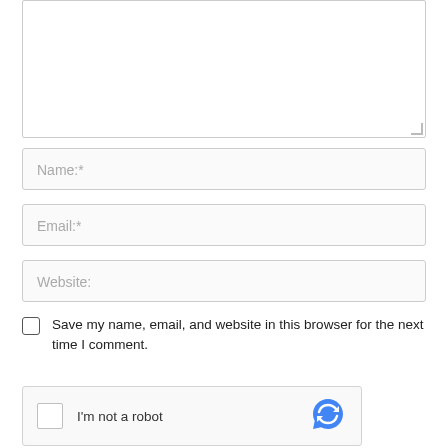[Figure (screenshot): Empty comment textarea input box with resize handle at bottom right]
Name:*
Email:*
Website:
Save my name, email, and website in this browser for the next time I comment.
[Figure (screenshot): reCAPTCHA widget with checkbox and 'I'm not a robot' text and reCAPTCHA logo]